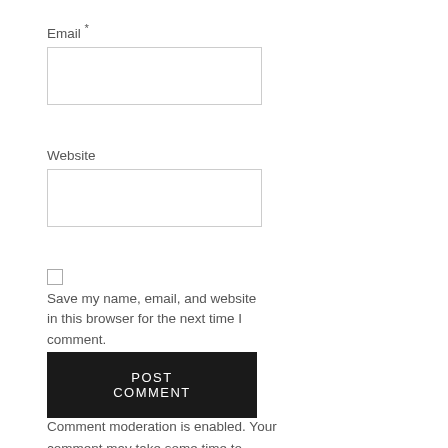Email *
[Figure (other): Empty text input field for Email]
Website
[Figure (other): Empty text input field for Website]
Save my name, email, and website in this browser for the next time I comment.
POST COMMENT
Comment moderation is enabled. Your comment may take some time to appear.